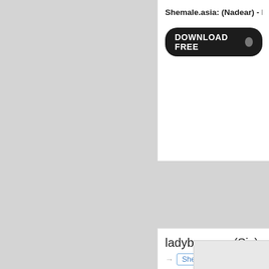Shemale.asia: (Nadear) - F
DOWNLOAD FREE
ladyboy.xxx: (Six)
Shemale Clip
[Figure (photo): Partial thumbnail image visible at bottom right, showing a dark surface, part of a white bordered photo card]